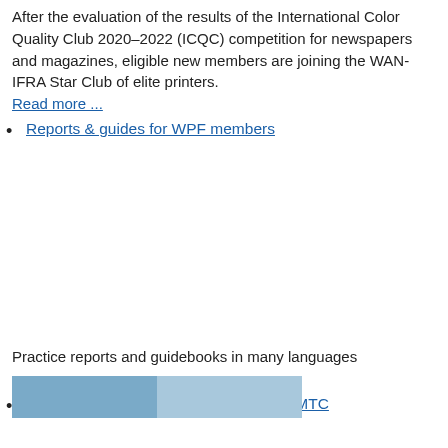After the evaluation of the results of the International Color Quality Club 2020–2022 (ICQC) competition for newspapers and magazines, eligible new members are joining the WAN-IFRA Star Club of elite printers.
Read more ...
Reports & guides for WPF members
Practice reports and guidebooks in many languages
Read more ...
Research & Material Testing Centre - RMTC
[Figure (photo): Image strip showing printing equipment or related imagery, partially visible at bottom of page]